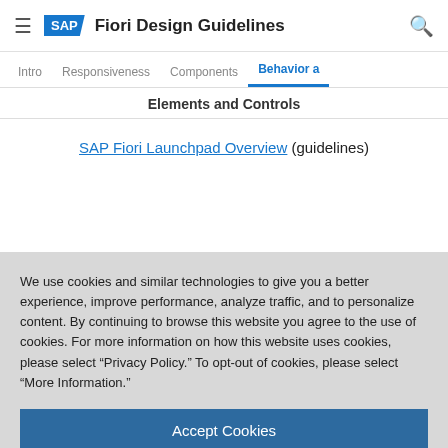SAP Fiori Design Guidelines
Elements and Controls
SAP Fiori Launchpad Overview (guidelines)
We use cookies and similar technologies to give you a better experience, improve performance, analyze traffic, and to personalize content. By continuing to browse this website you agree to the use of cookies. For more information on how this website uses cookies, please select “Privacy Policy.” To opt-out of cookies, please select “More Information.”
Accept Cookies
More Information
Privacy Policy | Powered by: TrustArc
No links.